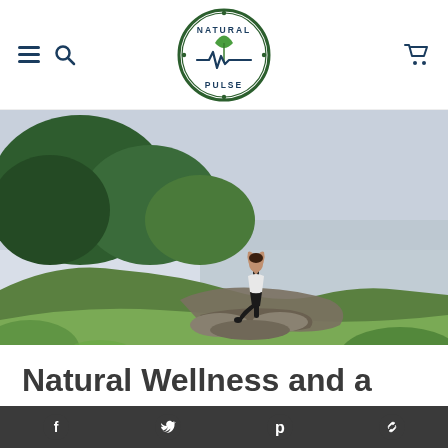Natural Pulse navigation header with hamburger menu, search icon, logo, and cart icon
[Figure (logo): Natural Pulse circular logo with leaf and heartbeat line graphic, dark green and white colors]
[Figure (photo): Woman in tree pose yoga stance on rocky outcrop overlooking water, surrounded by lush green vegetation]
Natural Wellness and a
Social media icons: Facebook, Twitter, Pinterest, Link